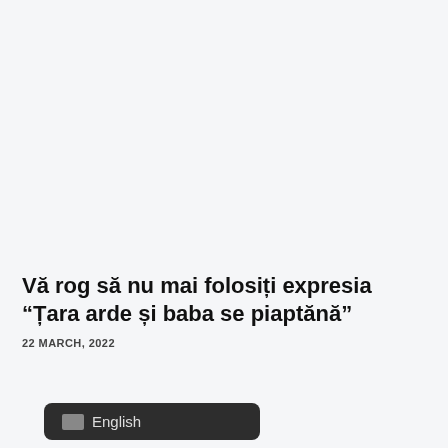Vă rog să nu mai folosiți expresia “Țara arde și baba se piaptănă”
22 MARCH, 2022
[Figure (screenshot): Language selector button showing 'English' with a flag icon on a dark rounded rectangle background]